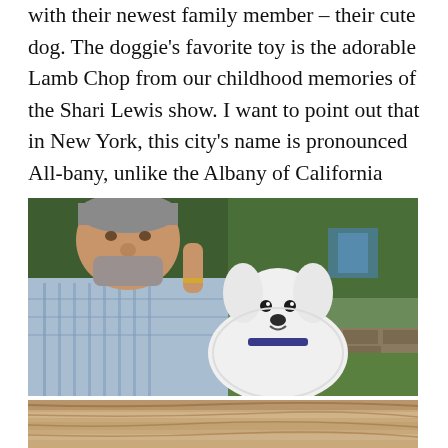with their newest family member – their cute dog. The doggie's favorite toy is the adorable Lamb Chop from our childhood memories of the Shari Lewis show. I want to point out that in New York, this city's name is pronounced All-bany, unlike the Albany of California that I hear pronounced more like Owl-bany.
[Figure (photo): A middle-aged man with grey hair and a beard wearing a blue plaid shirt, holding up a small white fluffy dog. Green ivy-covered trees and a blue building visible in the background.]
[Figure (photo): Partial view of what appears to be a wooden surface with light brown/auburn tones — possibly a toy or wooden object, cropped at bottom of page.]